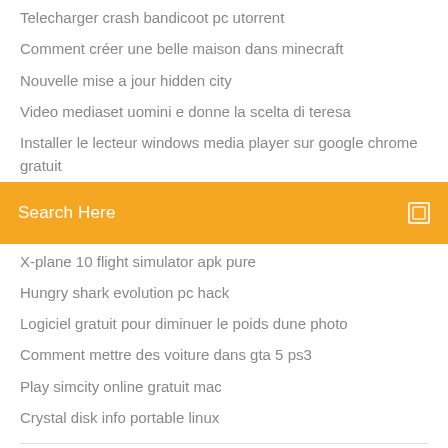Telecharger crash bandicoot pc utorrent
Comment créer une belle maison dans minecraft
Nouvelle mise a jour hidden city
Video mediaset uomini e donne la scelta di teresa
Installer le lecteur windows media player sur google chrome gratuit
[Figure (screenshot): Orange search bar with 'Search Here' placeholder text and a small square icon on the right]
X-plane 10 flight simulator apk pure
Hungry shark evolution pc hack
Logiciel gratuit pour diminuer le poids dune photo
Comment mettre des voiture dans gta 5 ps3
Play simcity online gratuit mac
Crystal disk info portable linux
Windows Media Player 11 Download para Windows ...
[Figure (infographic): Social media icons: Facebook, Twitter, Dribbble, Behance]